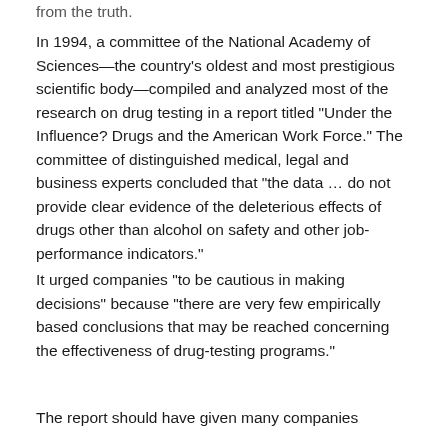from the truth.
In 1994, a committee of the National Academy of Sciences—the country's oldest and most prestigious scientific body—compiled and analyzed most of the research on drug testing in a report titled “Under the Influence? Drugs and the American Work Force.” The committee of distinguished medical, legal and business experts concluded that “the data … do not provide clear evidence of the deleterious effects of drugs other than alcohol on safety and other job-performance indicators.”
It urged companies “to be cautious in making decisions” because “there are very few empirically based conclusions that may be reached concerning the effectiveness of drug-testing programs.”
The report should have given many companies pause, but few heeded its findings. The number of companies